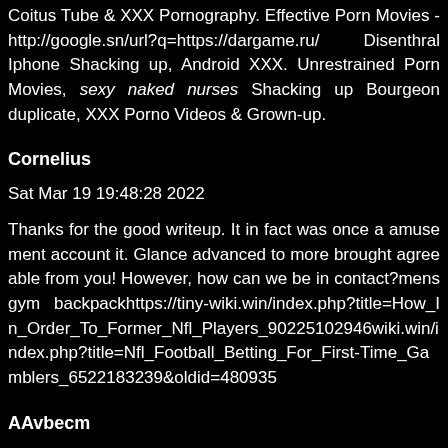Coitus Tube & XXX Pornography. Effective Porn Movies - http://google.sn/url?q=https://dargame.ru/ Disenthral Iphone Shacking up, Android XXX. Unrestrained Porn Movies, sexy naked nurses Shacking up Bourgeon duplicate, XXX Porno Videos & Grown-up.
Cornelius
Sat Mar 19 19:48:28 2022
Thanks for the good writeup. It in fact was once a amusement account it. Glance advanced to more brought agreeable from you! However, how can we be in contact?mens gym backpackhttps://tiny-wiki.win/index.php?title=How_In_Order_To_Former_Nfl_Players_90225102946wiki.win/index.php?title=Nfl_Football_Betting_For_First-Time_Gamblers_6522183239&oldid=480935
AAvbecm
Sun Mar 20 23:41:40 2022